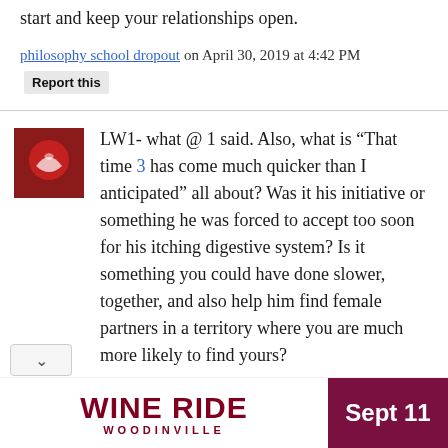start and keep your relationships open.
philosophy school dropout on April 30, 2019 at 4:42 PM  Report this
LW1- what @ 1 said. Also, what is “That time 3 has come much quicker than I anticipated” all about? Was it his initiative or something he was forced to accept too soon for his itching digestive system? Is it something you could have done slower, together, and also help him find female partners in a territory where you are much more likely to find yours?
Pulling a mild sportlandia, if last LW’s
[Figure (illustration): Advertisement banner for Wine Ride Woodinville event on Sept 11, with red text on white and white text on dark red background]